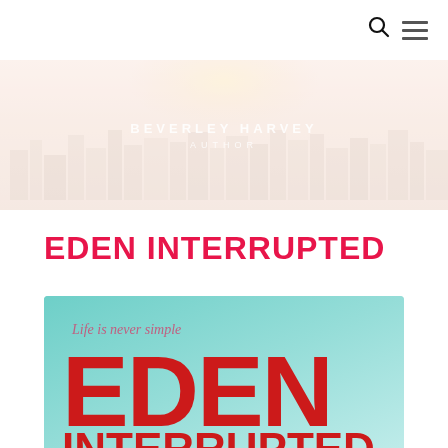[Figure (photo): Banner image of a cityscape at sunrise with faded/washed-out colors. Text overlay reads 'BEVERLEY HARVEY' and 'AUTHOR' in white spaced letters.]
EDEN INTERRUPTED
[Figure (illustration): Book cover with teal/cyan gradient background. Text reads 'Life is never simple' in pink italic, then 'EDEN' in large bold red letters, then 'INTERRUPTED' in bold red letters below.]